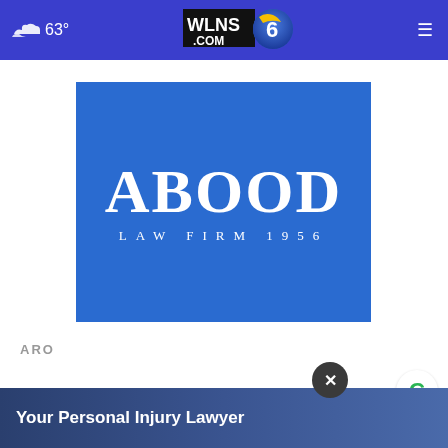☁ 63° | WLNS 6 .COM | ≡
[Figure (logo): ABOOD LAW FIRM 1956 logo on blue background]
ARO
[Figure (infographic): Advertisement banner: Your Personal Injury Lawyer with close button and Credibility logo]